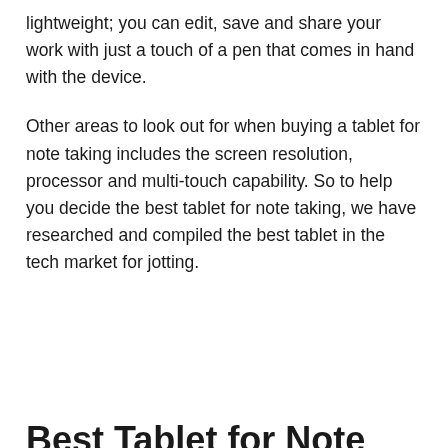lightweight; you can edit, save and share your work with just a touch of a pen that comes in hand with the device.
Other areas to look out for when buying a tablet for note taking includes the screen resolution, processor and multi-touch capability. So to help you decide the best tablet for note taking, we have researched and compiled the best tablet in the tech market for jotting.
Best Tablet for Note Taking 2022
1. Simbans Picasso Tab